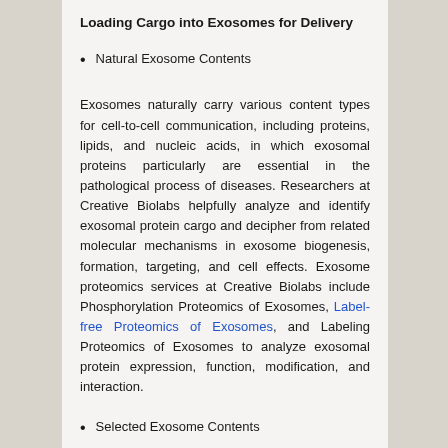Loading Cargo into Exosomes for Delivery
Natural Exosome Contents
Exosomes naturally carry various content types for cell-to-cell communication, including proteins, lipids, and nucleic acids, in which exosomal proteins particularly are essential in the pathological process of diseases. Researchers at Creative Biolabs helpfully analyze and identify exosomal protein cargo and decipher from related molecular mechanisms in exosome biogenesis, formation, targeting, and cell effects. Exosome proteomics services at Creative Biolabs include Phosphorylation Proteomics of Exosomes, Label-free Proteomics of Exosomes, and Labeling Proteomics of Exosomes to analyze exosomal protein expression, function, modification, and interaction.
Selected Exosome Contents
In addition to natural exosome contents, it is evident